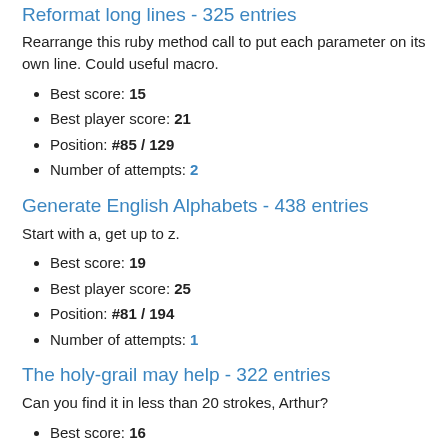Reformat long lines - 325 entries
Rearrange this ruby method call to put each parameter on its own line. Could useful macro.
Best score: 15
Best player score: 21
Position: #85 / 129
Number of attempts: 2
Generate English Alphabets - 438 entries
Start with a, get up to z.
Best score: 19
Best player score: 25
Position: #81 / 194
Number of attempts: 1
The holy-grail may help - 322 entries
Can you find it in less than 20 strokes, Arthur?
Best score: 16
Best player score: 16